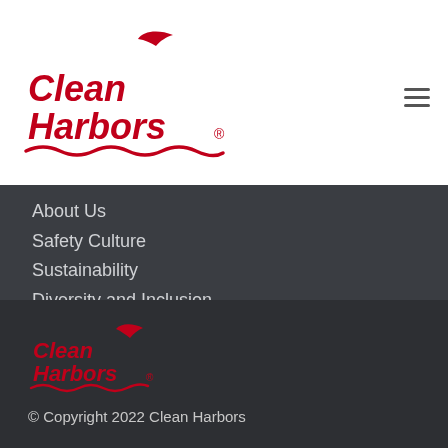[Figure (logo): Clean Harbors logo in red on white background, top of page]
About Us
Safety Culture
Sustainability
Diversity and Inclusion
Our Brands
FOLLOW US
[Figure (illustration): Social media icons: Facebook, Twitter, LinkedIn in red rounded squares]
[Figure (logo): Clean Harbors logo in red on dark background, footer]
© Copyright 2022 Clean Harbors